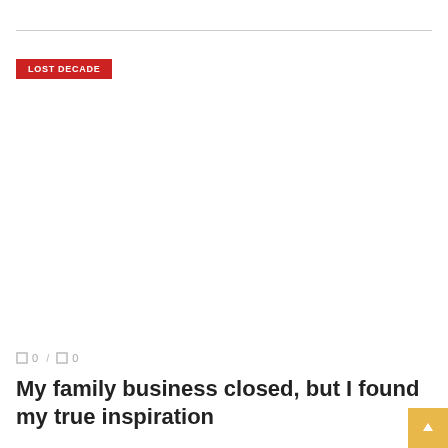LOST DECADE
0 / 0
My family business closed, but I found my true inspiration